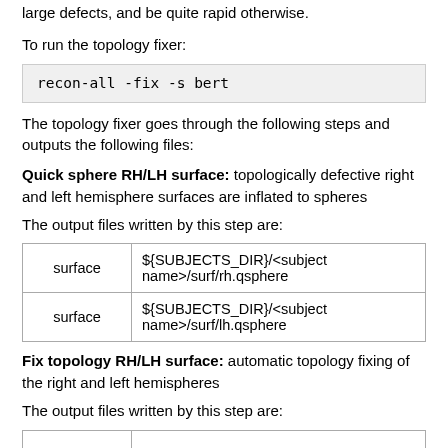large defects, and be quite rapid otherwise.
To run the topology fixer:
recon-all -fix -s bert
The topology fixer goes through the following steps and outputs the following files:
Quick sphere RH/LH surface: topologically defective right and left hemisphere surfaces are inflated to spheres
The output files written by this step are:
|  |  |
| --- | --- |
| surface | ${SUBJECTS_DIR}/<subject name>/surf/rh.qsphere |
| surface | ${SUBJECTS_DIR}/<subject name>/surf/lh.qsphere |
Fix topology RH/LH surface: automatic topology fixing of the right and left hemispheres
The output files written by this step are: